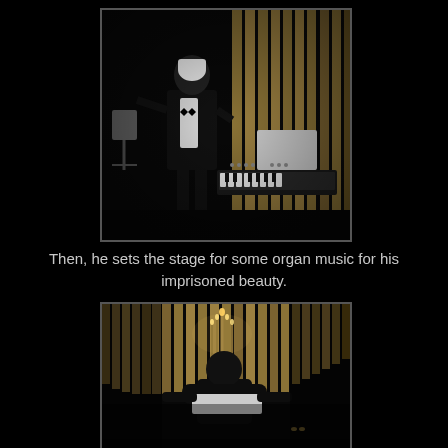[Figure (photo): A masked figure in a tuxedo with white mask pointing, standing near an organ with golden pipes and sheet music stand in a dark room]
Then, he sets the stage for some organ music for his imprisoned beauty.
[Figure (photo): A figure seen from behind seated at an organ with golden pipes and candles in a dark room]